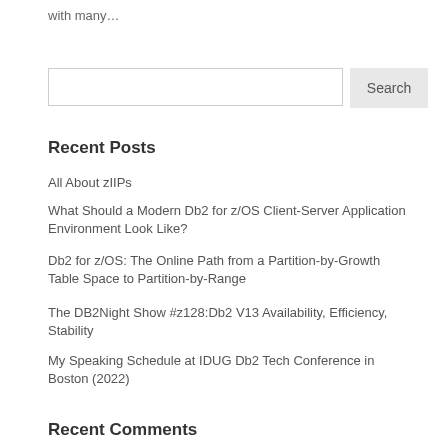with many…
Search
Recent Posts
All About zIIPs
What Should a Modern Db2 for z/OS Client-Server Application Environment Look Like?
Db2 for z/OS: The Online Path from a Partition-by-Growth Table Space to Partition-by-Range
The DB2Night Show #z128:Db2 V13 Availability, Efficiency, Stability
My Speaking Schedule at IDUG Db2 Tech Conference in Boston (2022)
Recent Comments